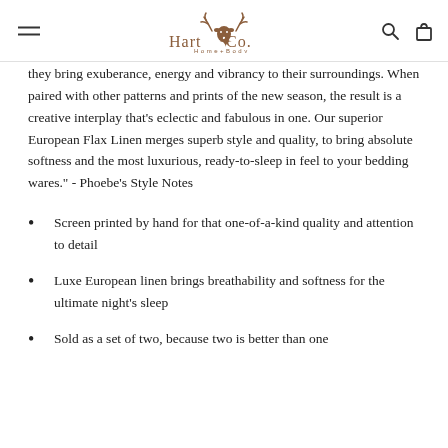Hart & Co. Home+Body — navigation header
they bring exuberance, energy and vibrancy to their surroundings. When paired with other patterns and prints of the new season, the result is a creative interplay that's eclectic and fabulous in one. Our superior European Flax Linen merges superb style and quality, to bring absolute softness and the most luxurious, ready-to-sleep in feel to your bedding wares." - Phoebe's Style Notes
Screen printed by hand for that one-of-a-kind quality and attention to detail
Luxe European linen brings breathability and softness for the ultimate night's sleep
Sold as a set of two, because two is better than one